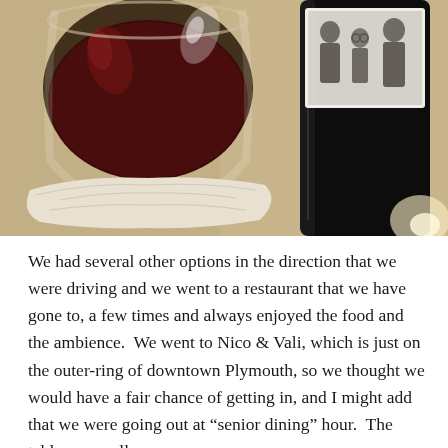[Figure (photo): Two wine glasses/bottles on a table. Left: a large stemless wine glass filled with dark red wine, wrapped with a white napkin at the base. Right: a dark wine bottle with a black-and-white photo label showing a family group. Background is a tan/beige surface.]
We had several other options in the direction that we were driving and we went to a restaurant that we have gone to, a few times and always enjoyed the food and the ambience.  We went to Nico & Vali, which is just on the outer-ring of downtown Plymouth, so we thought we would have a fair chance of getting in, and I might add that we were going out at “senior dining” hour.  The tables were all